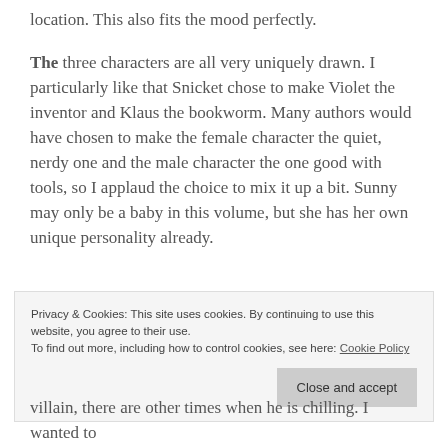location. This also fits the mood perfectly.
The three characters are all very uniquely drawn. I particularly like that Snicket chose to make Violet the inventor and Klaus the bookworm. Many authors would have chosen to make the female character the quiet, nerdy one and the male character the one good with tools, so I applaud the choice to mix it up a bit. Sunny may only be a baby in this volume, but she has her own unique personality already.
Privacy & Cookies: This site uses cookies. By continuing to use this website, you agree to their use.
To find out more, including how to control cookies, see here: Cookie Policy
villain, there are other times when he is chilling. I wanted to